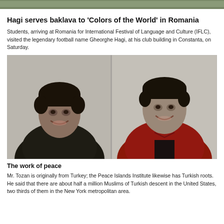[Figure (photo): Top strip photo — partial outdoor/group photo cropped at top of page]
Hagi serves baklava to 'Colors of the World' in Romania
Students, arriving at Romania for International Festival of Language and Culture (IFLC), visited the legendary football name Gheorghe Hagi, at his club building in Constanta, on Saturday.
[Figure (photo): Two young men smiling side by side indoors — one in a dark sweater on the left, one in a red zip-up jacket on the right]
The work of peace
Mr. Tozan is originally from Turkey; the Peace Islands Institute likewise has Turkish roots. He said that there are about half a million Muslims of Turkish descent in the United States, two thirds of them in the New York metropolitan area.